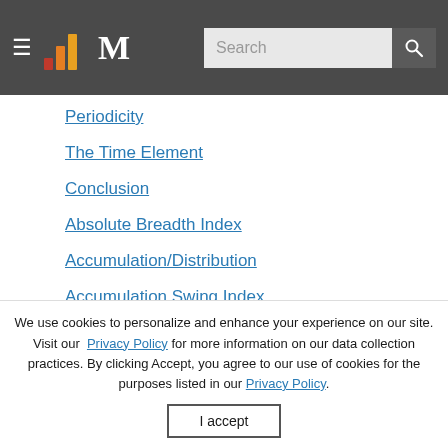Morningstar navigation header with logo and search bar
Periodicity
The Time Element
Conclusion
Absolute Breadth Index
Accumulation/Distribution
Accumulation Swing Index
Advance/Decline Line
Advance/Decline Ratio
We use cookies to personalize and enhance your experience on our site. Visit our Privacy Policy for more information on our data collection practices. By clicking Accept, you agree to our use of cookies for the purposes listed in our Privacy Policy.
I accept